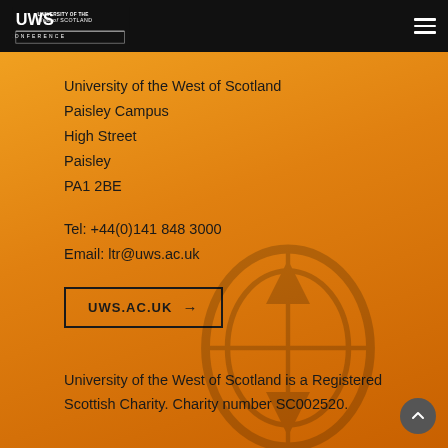UWS University of the West of Scotland Conference
University of the West of Scotland
Paisley Campus
High Street
Paisley
PA1 2BE
Tel: +44(0)141 848 3000
Email: ltr@uws.ac.uk
UWS.AC.UK →
University of the West of Scotland is a Registered Scottish Charity. Charity number SC002520.